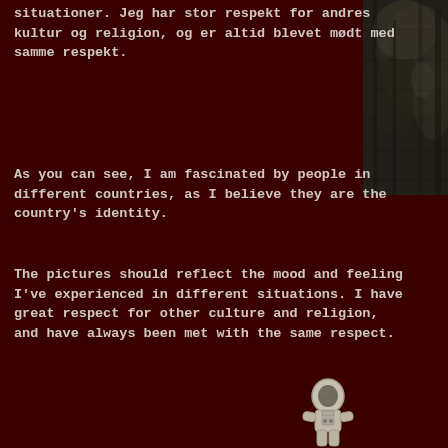situationer. Jeg har stor respekt for andres kultur og religion, og er altid blevet mødt med samme respekt.
As you can see, I am fascinated by people in different countries, as I believe they are the country's identity.
The pictures should reflect the mood and feeling I've experienced in different situations. I have great respect for other culture and religion, and have always been met with the same respect.
[Figure (photo): Black and white photo of a natural outdoor scene, partially visible in the top-right corner of the page]
[Figure (illustration): Small illustration of an astronaut figure at the bottom-center-right of the page]